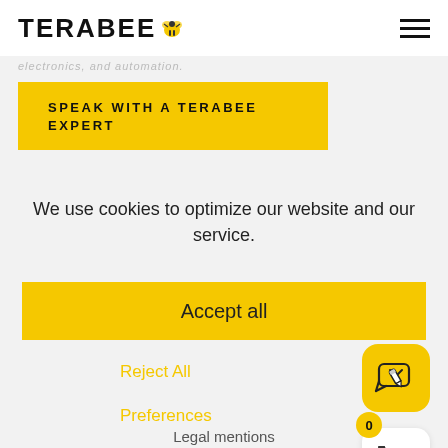TERABEE
electronics, and automation.
SPEAK WITH A TERABEE EXPERT
We use cookies to optimize our website and our service.
Accept all
Reject All
Preferences
Legal mentions
[Figure (illustration): Chat/edit icon button in yellow rounded square]
[Figure (illustration): Shopping cart icon in white rounded square with badge showing 0]